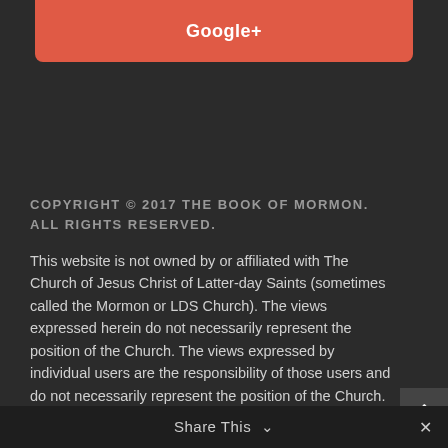[Figure (other): Google+ social share button in red/orange color]
COPYRIGHT © 2017 THE BOOK OF MORMON. ALL RIGHTS RESERVED.
This website is not owned by or affiliated with The Church of Jesus Christ of Latter-day Saints (sometimes called the Mormon or LDS Church). The views expressed herein do not necessarily represent the position of the Church. The views expressed by individual users are the responsibility of those users and do not necessarily represent the position of the Church. For the official Church websites, please visit LDS.org or Mormon.org.
Share This ∨  ×